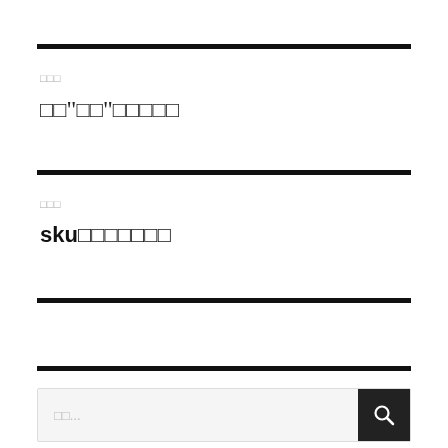□□□
□□“□□”□□□□□
□□□
sku□□□□□□□
□□...